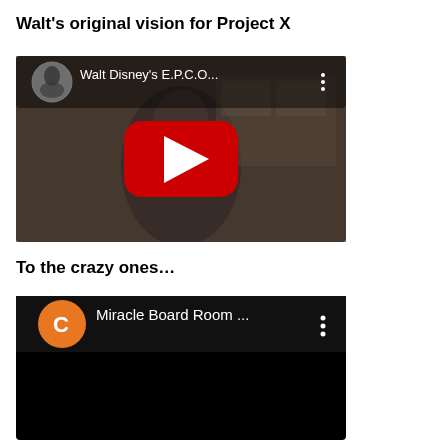Walt's original vision for Project X
[Figure (screenshot): YouTube video thumbnail showing Walt Disney's E.P.C.O... video with a man in a suit seated, with a red YouTube play button overlay and circular black-and-white avatar in top left corner.]
To the crazy ones…
[Figure (screenshot): YouTube video thumbnail with a black background showing an orange circle avatar with letter C, and text 'Miracle Board Room ...' with a three-dot menu icon.]